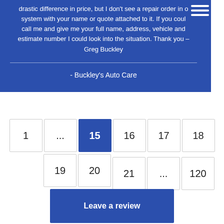drastic difference in price, but I don't see a repair order in our system with your name or quote attached to it. If you could call me and give me your full name, address, vehicle and estimate number I could look into the situation. Thank you – Greg Buckley
- Buckley's Auto Care
[Figure (other): Pagination navigation showing pages: 1, ..., 15 (active/current), 16, 17, 18, 19, 20 on first row and 21, ..., 120 on second row]
Leave a review